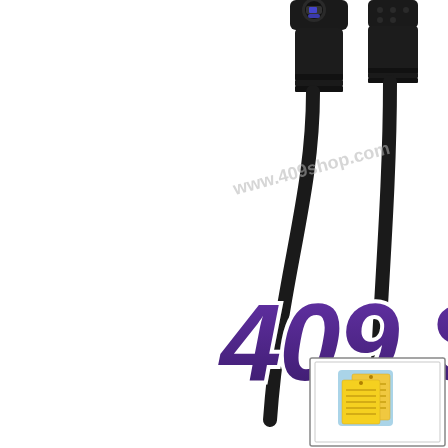[Figure (photo): Product photo showing two black cable connectors/plugs on a white background. A watermark text 'www.409shop.com' is overlaid in gray. Large stylized purple text '409 S' (partially cropped) is displayed in the lower center area. In the bottom right corner, a small framed box contains a yellow sticky notes icon/illustration.]